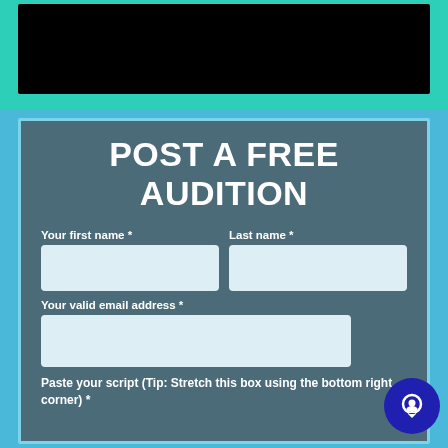[Figure (screenshot): Black video player bar at the top of the page]
POST A FREE AUDITION
Your first name *
Last name *
Your valid email address *
Paste your script (Tip: Stretch this box using the bottom right corner) *